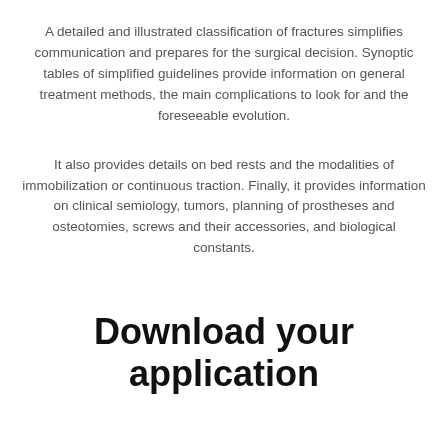A detailed and illustrated classification of fractures simplifies communication and prepares for the surgical decision. Synoptic tables of simplified guidelines provide information on general treatment methods, the main complications to look for and the foreseeable evolution.
It also provides details on bed rests and the modalities of immobilization or continuous traction. Finally, it provides information on clinical semiology, tumors, planning of prostheses and osteotomies, screws and their accessories, and biological constants.
Download your application